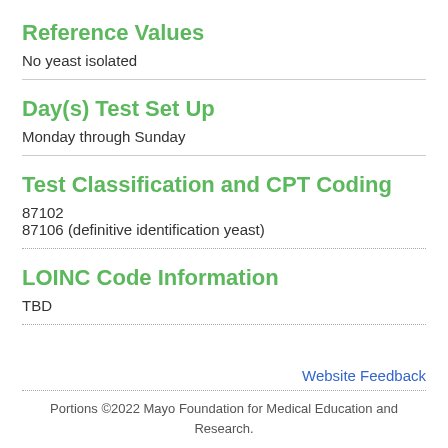Reference Values
No yeast isolated
Day(s) Test Set Up
Monday through Sunday
Test Classification and CPT Coding
87102
87106 (definitive identification yeast)
LOINC Code Information
TBD
Website Feedback
Portions ©2022 Mayo Foundation for Medical Education and Research.